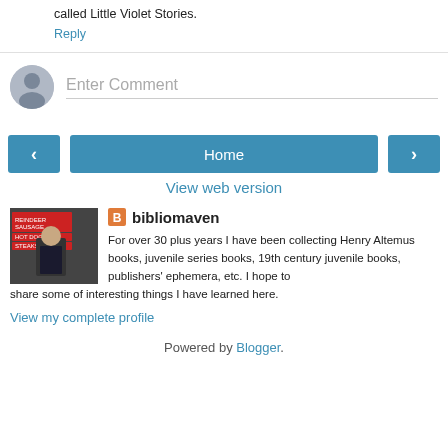called Little Violet Stories.
Reply
Enter Comment
Home
View web version
bibliomaven
For over 30 plus years I have been collecting Henry Altemus books, juvenile series books, 19th century juvenile books, publishers' ephemera, etc. I hope to share some of interesting things I have learned here.
View my complete profile
Powered by Blogger.